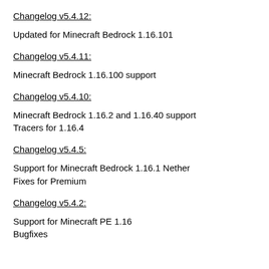Changelog v5.4.12:
Updated for Minecraft Bedrock 1.16.101
Changelog v5.4.11:
Minecraft Bedrock 1.16.100 support
Changelog v5.4.10:
Minecraft Bedrock 1.16.2 and 1.16.40 support
Tracers for 1.16.4
Changelog v5.4.5:
Support for Minecraft Bedrock 1.16.1 Nether
Fixes for Premium
Changelog v5.4.2:
Support for Minecraft PE 1.16
Bugfixes